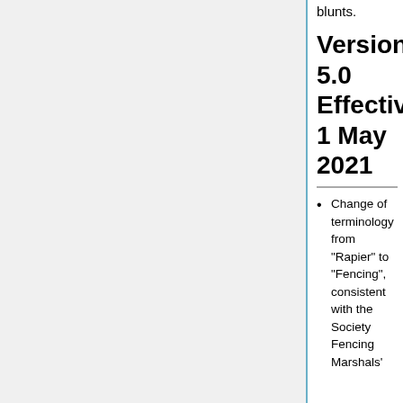blunts.
Version 5.0 Effective 1 May 2021
Change of terminology from "Rapier" to "Fencing", consistent with the Society Fencing Marshals'